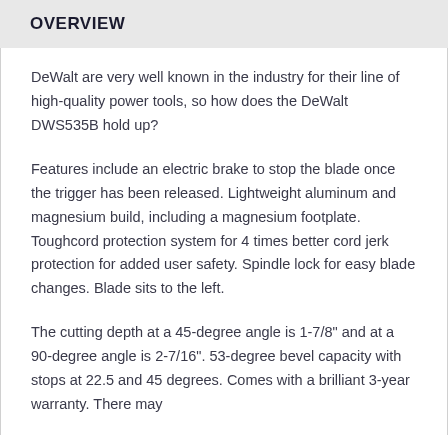OVERVIEW
DeWalt are very well known in the industry for their line of high-quality power tools, so how does the DeWalt DWS535B hold up?
Features include an electric brake to stop the blade once the trigger has been released. Lightweight aluminum and magnesium build, including a magnesium footplate. Toughcord protection system for 4 times better cord jerk protection for added user safety. Spindle lock for easy blade changes. Blade sits to the left.
The cutting depth at a 45-degree angle is 1-7/8" and at a 90-degree angle is 2-7/16". 53-degree bevel capacity with stops at 22.5 and 45 degrees. Comes with a brilliant 3-year warranty. There may